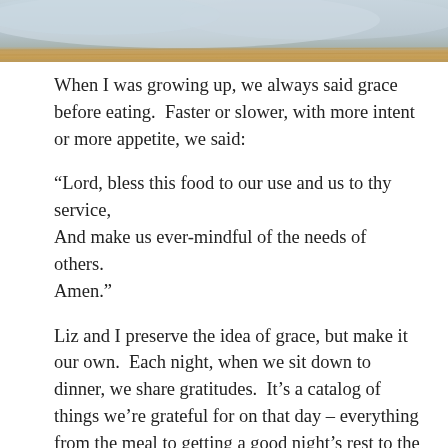[Figure (photo): Top portion of a photo showing a light blue/grey fluffy rug or fabric on a wooden floor surface]
When I was growing up, we always said grace before eating.  Faster or slower, with more intent or more appetite, we said:
“Lord, bless this food to our use and us to thy service,
And make us ever-mindful of the needs of others.
Amen.”
Liz and I preserve the idea of grace, but make it our own.  Each night, when we sit down to dinner, we share gratitudes.  It’s a catalog of things we’re grateful for on that day – everything from the meal to getting a good night’s rest to the view out the window.  In addition to the rotating set of things we appreciate, Liz always ends with “And